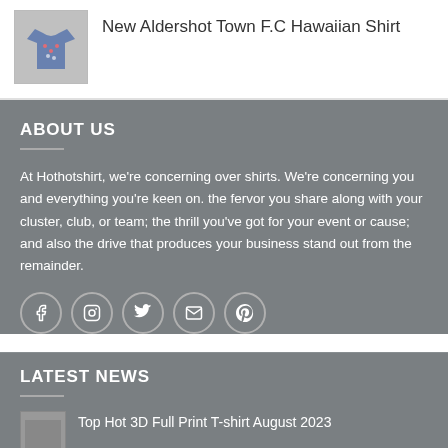[Figure (photo): Thumbnail image of a Hawaiian shirt product]
New Aldershot Town F.C Hawaiian Shirt
ABOUT US
At Hothotshirt, we're concerning over shirts. We're concerning you and everything you're keen on. the fervor you share along with your cluster, club, or team; the thrill you've got for your event or cause; and also the drive that produces your business stand out from the remainder.
[Figure (infographic): Row of social media icons: Facebook, Instagram, Twitter, Email, Pinterest]
LATEST NEWS
[Figure (photo): Small thumbnail image for a news article]
Top Hot 3D Full Print T-shirt August 2023